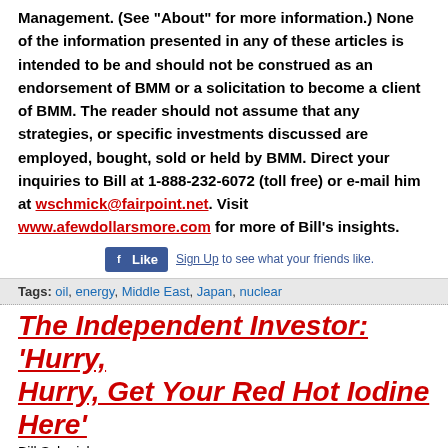Management. (See "About" for more information.) None of the information presented in any of these articles is intended to be and should not be construed as an endorsement of BMM or a solicitation to become a client of BMM. The reader should not assume that any strategies, or specific investments discussed are employed, bought, sold or held by BMM. Direct your inquiries to Bill at 1-888-232-6072 (toll free) or e-mail him at wschmick@fairpoint.net. Visit www.afewdollarsmore.com for more of Bill's insights.
[Figure (other): Facebook Like button widget with 'Sign Up to see what your friends like.']
Tags: oil, energy, Middle East, Japan, nuclear
The Independent Investor: 'Hurry, Hurry, Get Your Red Hot Iodine Here'
Bill Schmick
05:08PM / Thursday March 17, 2011